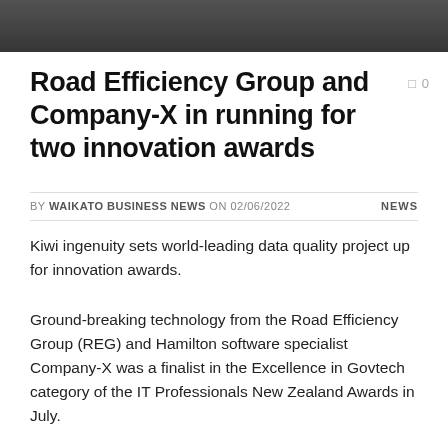[Figure (photo): Dark photographic header strip at top of page]
Road Efficiency Group and Company-X in running for two innovation awards
BY WAIKATO BUSINESS NEWS ON 02/06/2022   NEWS
Kiwi ingenuity sets world-leading data quality project up for innovation awards.
Ground-breaking technology from the Road Efficiency Group (REG) and Hamilton software specialist Company-X was a finalist in the Excellence in Govtech category of the IT Professionals New Zealand Awards in July.
Now the REG and Company-X team is a double finalist in